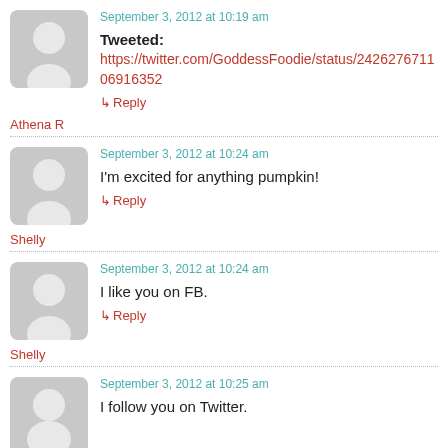September 3, 2012 at 10:19 am
Tweeted: https://twitter.com/GoddessFoodie/status/242627671106916352
↳ Reply
Athena R
September 3, 2012 at 10:24 am
I'm excited for anything pumpkin!
↳ Reply
Shelly
September 3, 2012 at 10:24 am
I like you on FB.
↳ Reply
Shelly
September 3, 2012 at 10:25 am
I follow you on Twitter.